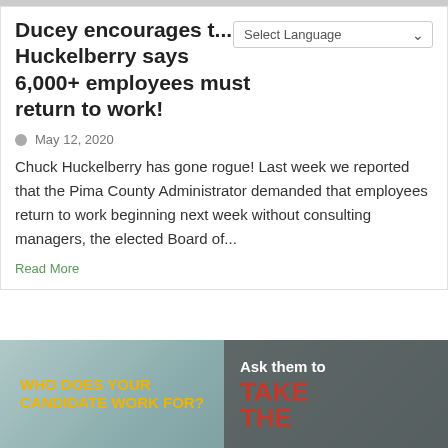Ducey encourages t... Huckelberry says 6,000+ employees must return to work!
May 12, 2020
Chuck Huckelberry has gone rogue! Last week we reported that the Pima County Administrator demanded that employees return to work beginning next week without consulting managers, the elected Board of...
Read More
[Figure (infographic): Banner ad with teal/cloudy background. Left side shows yellow bold text 'WHO DOES YOUR CANDIDATE WORK FOR?' on a dark overlay. Right side dark overlay shows white text 'Ask them to' and red bold text 'TAKE THE']